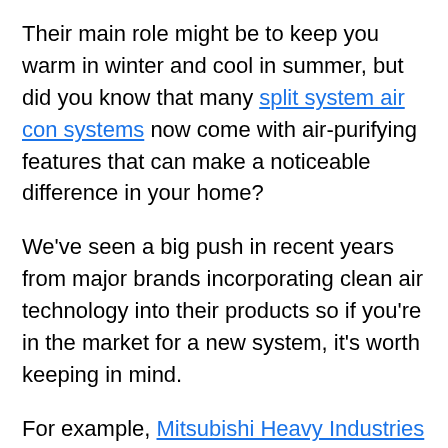Their main role might be to keep you warm in winter and cool in summer, but did you know that many split system air con systems now come with air-purifying features that can make a noticeable difference in your home?
We've seen a big push in recent years from major brands incorporating clean air technology into their products so if you're in the market for a new system, it's worth keeping in mind.
For example, Mitsubishi Heavy Industries incorporates an advanced enzyme filter and multi-stage Allergen Clear operation into its Avanti, Avanti Plus and Bronte split systems. These features work together to